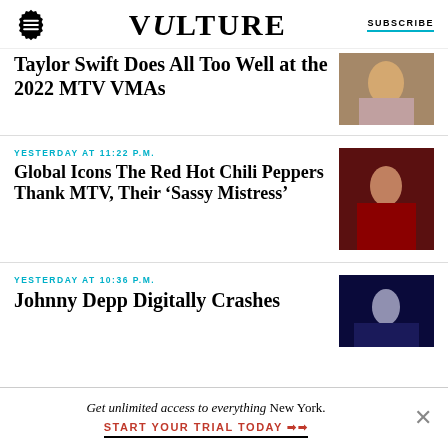VULTURE | SUBSCRIBE
Taylor Swift Does All Too Well at the 2022 MTV VMAs
YESTERDAY AT 11:22 P.M.
Global Icons The Red Hot Chili Peppers Thank MTV, Their ‘Sassy Mistress’
YESTERDAY AT 10:36 P.M.
Johnny Depp Digitally Crashes
Get unlimited access to everything New York. START YOUR TRIAL TODAY ➡➡